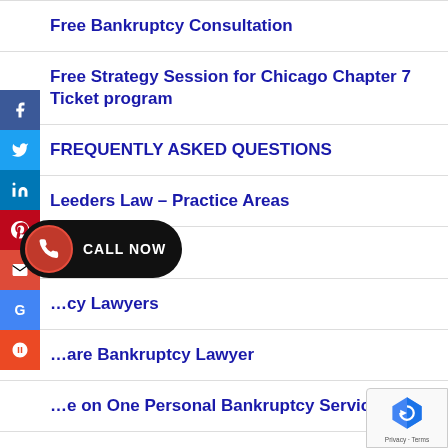Free Bankruptcy Consultation
Free Strategy Session for Chicago Chapter 7 Ticket program
FREQUENTLY ASKED QUESTIONS
Leeders Law – Practice Areas
…cations
…cy Lawyers
…are Bankruptcy Lawyer
…e on One Personal Bankruptcy Service
…r Satisfied Clients
…tage Park Bankruptcy Lawyer
…o We Are: Leeders Law…